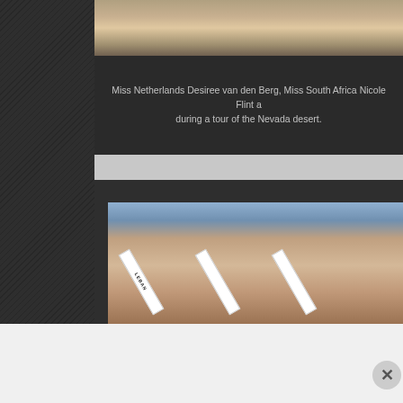[Figure (photo): Partial top image strip showing beauty pageant contestants in outdoor setting]
Miss Netherlands Desiree van den Berg, Miss South Africa Nicole Flint a during a tour of the Nevada desert.
[Figure (photo): Photo of three beauty pageant contestants wearing sashes: Lebanon, Malaysia, Mauritius, in black bikinis at an outdoor event]
Advertisements
[Figure (other): DuckDuckGo advertisement banner: Search, browse, and email with more privacy. All in One Free App]